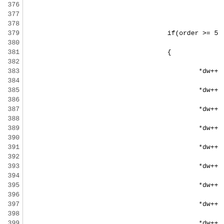[Figure (screenshot): Source code listing showing C code for bin_ambi_reduced_decode2_ls and related functions, lines 376-405, with line numbers on the left and code on the right. Lines 376-394 show closing braces and if(order >= 5) block with *dw++ assignments. Line 395 is blank. Lines 396-403 show static void bin_ambi_reduced_decode2_ls function. Line 404 is blank. Line 405 starts static void bin_ambi_reduced_decode2_copy_row.]